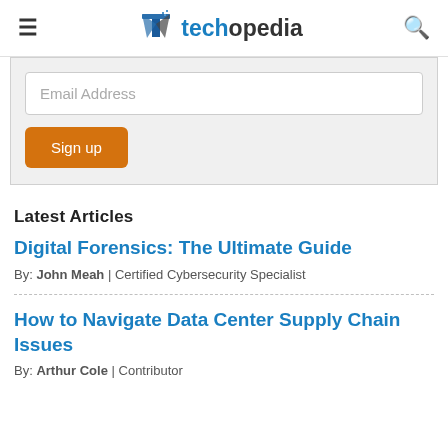techopedia
Email Address
Sign up
Latest Articles
Digital Forensics: The Ultimate Guide
By: John Meah | Certified Cybersecurity Specialist
How to Navigate Data Center Supply Chain Issues
By: Arthur Cole | Contributor